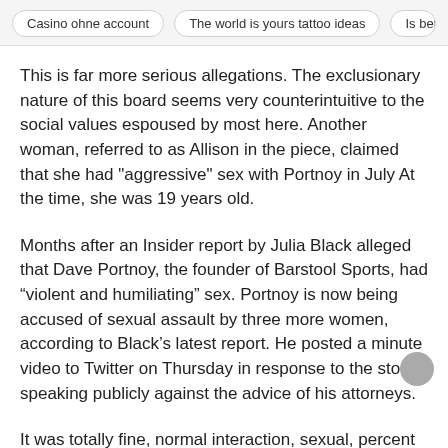Casino ohne account | The world is yours tattoo ideas | Is betting
This is far more serious allegations. The exclusionary nature of this board seems very counterintuitive to the social values espoused by most here. Another woman, referred to as Allison in the piece, claimed that she had "aggressive" sex with Portnoy in July At the time, she was 19 years old.
Months after an Insider report by Julia Black alleged that Dave Portnoy, the founder of Barstool Sports, had “violent and humiliating” sex. Portnoy is now being accused of sexual assault by three more women, according to Black’s latest report. He posted a minute video to Twitter on Thursday in response to the story, speaking publicly against the advice of his attorneys.
It was totally fine, normal interaction, sexual, percent